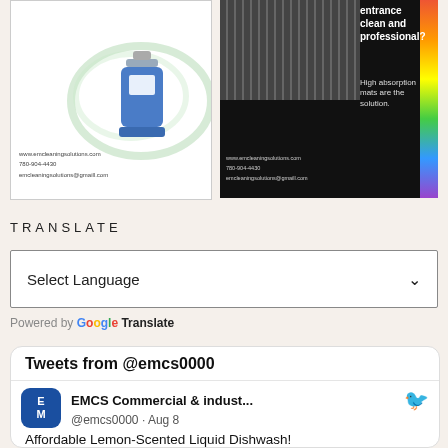[Figure (photo): Two side-by-side advertisement panels for EM Cleaning Solutions. Left panel shows cleaning product bottle with swirl design and contact info. Right panel shows entrance mat with colorful stripes promoting high absorption mats.]
TRANSLATE
[Figure (screenshot): Select Language dropdown widget]
Powered by Google Translate
[Figure (screenshot): Tweets from @emcs0000 Twitter widget showing EMCS Commercial & indust... @emcs0000 · Aug 8 — Affordable Lemon-Scented Liquid Dishwash!]